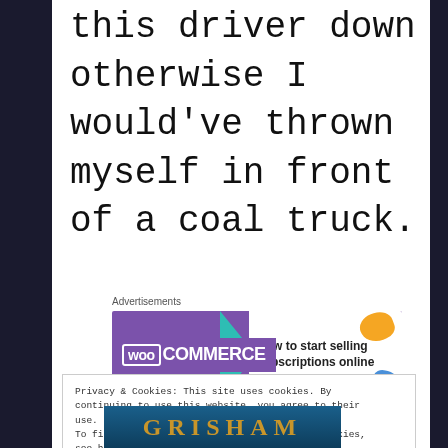this driver down otherwise I would've thrown myself in front of a coal truck.
[Figure (screenshot): WooCommerce advertisement banner: purple background with WooCommerce logo, teal arrow shape, white right section with text 'How to start selling subscriptions online' and orange and blue decorative shapes]
Privacy & Cookies: This site uses cookies. By continuing to use this website, you agree to their use.
To find out more, including how to control cookies, see here: Cookie Policy
Close and accept
[Figure (photo): Bottom strip showing partial Grisham book cover with teal/dark blue background and gold/orange text reading GRISHAM]